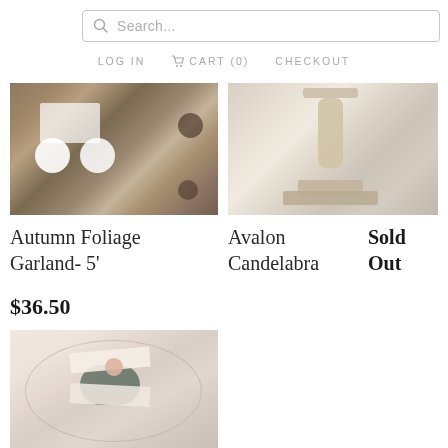[Figure (screenshot): Search bar with magnifying glass icon and placeholder text 'Search...']
LOG IN   CART (0)   CHECKOUT
[Figure (photo): Autumn foliage garland product photo showing dried flowers, pinecones, white sunflowers and autumn leaves on a wooden surface]
[Figure (photo): Avalon Candelabra product photo showing a cream/ivory painted candelabra on a distressed wood surface with floral patterned background]
Autumn Foliage Garland- 5'
Avalon Candelabra
Sold Out
$36.50
[Figure (photo): Napkin ring product photo showing a green velvet napkin ring holding a white linen napkin on a decorative plate]